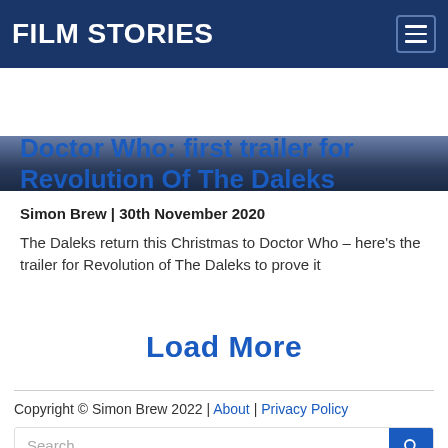FILM STORIES
[Figure (photo): Partial view of a dark scene, likely a still from Doctor Who Revolution of The Daleks]
Doctor Who: first trailer for Revolution Of The Daleks
Simon Brew | 30th November 2020
The Daleks return this Christmas to Doctor Who – here's the trailer for Revolution of The Daleks to prove it
Load More
Copyright © Simon Brew 2022 | About | Privacy Policy